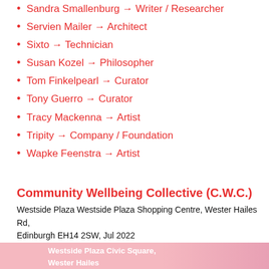Sandra Smallenburg → Writer / Researcher
Servien Mailer → Architect
Sixto → Technician
Susan Kozel → Philosopher
Tom Finkelpearl → Curator
Tony Guerro → Curator
Tracy Mackenna → Artist
Tripity → Company / Foundation
Wapke Feenstra → Artist
Community Wellbeing Collective (C.W.C.)
Westside Plaza Westside Plaza Shopping Centre, Wester Hailes Rd, Edinburgh EH14 2SW, Jul 2022
2022
[Figure (photo): Partial view of an image strip showing text 'Westside Plaza Civic Square, Wester Hailes' over a pink/rose colored background]